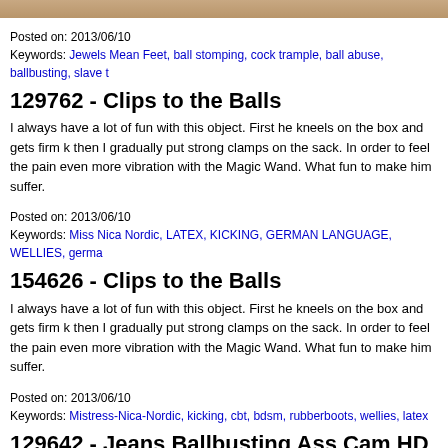[Figure (photo): Partial image at top of page, brown/tan colored, cropped]
Posted on: 2013/06/10
Keywords: Jewels Mean Feet, ball stomping, cock trample, ball abuse, ballbusting, slave t
129762 - Clips to the Balls
I always have a lot of fun with this object. First he kneels on the box and gets firm k then I gradually put strong clamps on the sack. In order to feel the pain even more vibration with the Magic Wand. What fun to make him suffer.
Posted on: 2013/06/10
Keywords: Miss Nica Nordic, LATEX, KICKING, GERMAN LANGUAGE, WELLIES, germa
154626 - Clips to the Balls
I always have a lot of fun with this object. First he kneels on the box and gets firm k then I gradually put strong clamps on the sack. In order to feel the pain even more vibration with the Magic Wand. What fun to make him suffer.
Posted on: 2013/06/10
Keywords: Mistress-Nica-Nordic, kicking, cbt, bdsm, rubberboots, wellies, latex
129642 - Jeans Ballbusting Ass Cam HD
Smiley is kicking her slave really hard in his balls wearing a sexy jeans. That is the losers to her shootings...wanna try out...?This is a cam version filmed from behoind can see her sexy ass all the tiime when she kicks the balls.
Posted on: 2013/06/10
Keywords: Brat Girls Femdom
154515 - Male and female dom couple abuse slave